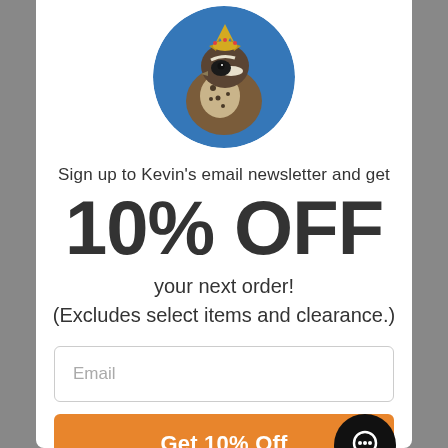[Figure (illustration): Circular logo of a quail bird wearing a golden crown on a blue background]
Sign up to Kevin’s email newsletter and get
10% OFF
your next order!
(Excludes select items and clearance.)
Email
Get 10% Off
No, thanks